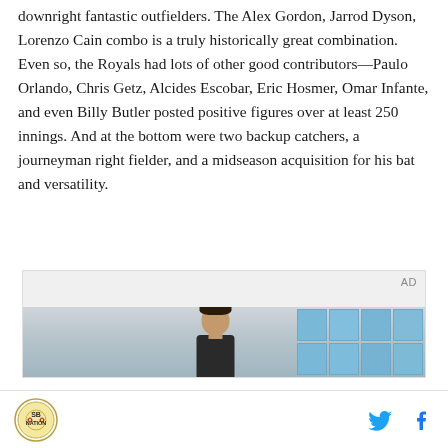downright fantastic outfielders. The Alex Gordon, Jarrod Dyson, Lorenzo Cain combo is a truly historically great combination. Even so, the Royals had lots of other good contributors—Paulo Orlando, Chris Getz, Alcides Escobar, Eric Hosmer, Omar Infante, and even Billy Butler posted positive figures over at least 250 innings. And at the bottom were two backup catchers, a journeyman right fielder, and a midseason acquisition for his bat and versatility.
[Figure (photo): Advertisement box with AD label, showing a photo of a young person with curly hair against a background of blue-tinted window grid panels in what appears to be a school or institutional setting.]
SB Nation logo | Twitter icon | Facebook icon